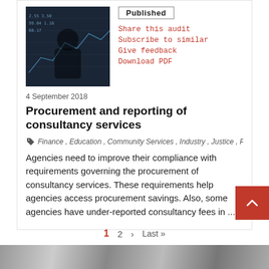[Figure (photo): Dark photo of a person in front of financial data screens with numbers]
Published
Share this audit
Subscribe to similar
Give feedback
Download PDF
4 September 2018
Procurement and reporting of consultancy services
Finance , Education , Community Services , Industry , Justice , Planning , ...
Agencies need to improve their compliance with requirements governing the procurement of consultancy services. These requirements help agencies access procurement savings. Also, some agencies have under-reported consultancy fees in ...
1  2  >  Last»
[Figure (photo): Grayscale photo of papers or documents, partially visible at bottom of page]